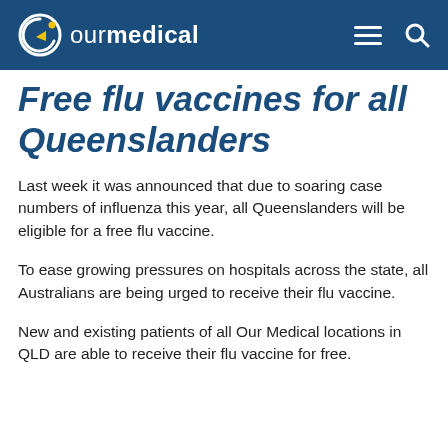ourmedical
Free flu vaccines for all Queenslanders
Last week it was announced that due to soaring case numbers of influenza this year, all Queenslanders will be eligible for a free flu vaccine.
To ease growing pressures on hospitals across the state, all Australians are being urged to receive their flu vaccine.
New and existing patients of all Our Medical locations in QLD are able to receive their flu vaccine for free.